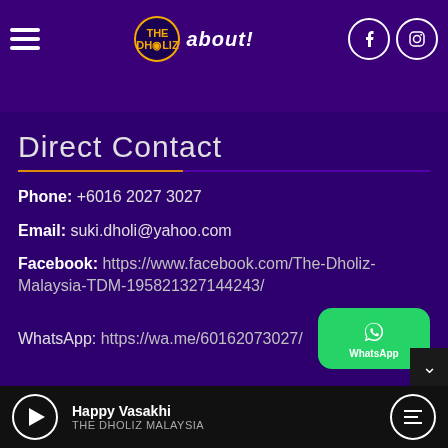Each module can be dark or light, despite the general website settings.
Direct Contact
Phone: +6016 2027 3027
Email: suki.dholi@yahoo.com
Facebook: https://www.facebook.com/The-Dholiz-Malaysia-TDM-195821327144243/
WhatsApp: https://wa.me/60162073027/
Happy Vasakhi
THE DHOLIZ MALAYSIA